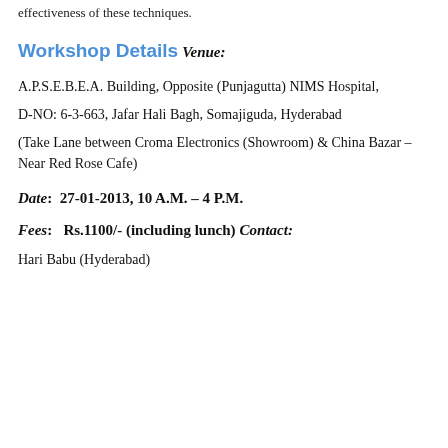effectiveness of these techniques.
Workshop Details
Venue:
A.P.S.E.B.E.A. Building, Opposite (Punjagutta) NIMS Hospital,
D-NO: 6-3-663, Jafar Hali Bagh, Somajiguda, Hyderabad
(Take Lane between Croma Electronics (Showroom) & China Bazar – Near Red Rose Cafe)
Date:  27-01-2013, 10 A.M. – 4 P.M.
Fees:   Rs.1100/- (including lunch)
Contact:
Hari Babu (Hyderabad)